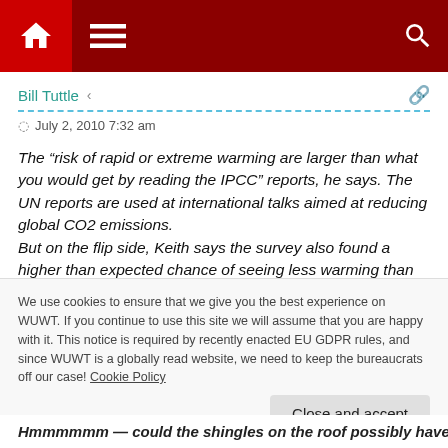[Figure (screenshot): Website navigation bar with home icon, hamburger menu, and search icon on dark red background]
Bill Tuttle
July 2, 2010 7:32 am
The “risk of rapid or extreme warming are larger than what you would get by reading the IPCC” reports, he says. The UN reports are used at international talks aimed at reducing global CO2 emissions.
But on the flip side, Keith says the survey also found a higher than expected chance of seeing less warming than expected.
We use cookies to ensure that we give you the best experience on WUWT. If you continue to use this site we will assume that you are happy with it. This notice is required by recently enacted EU GDPR rules, and since WUWT is a globally read website, we need to keep the bureaucrats off our case! Cookie Policy
Hmmmmmm — could the shingles on the roof possibly have